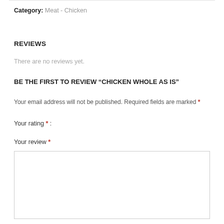Category: Meat - Chicken
REVIEWS
There are no reviews yet.
BE THE FIRST TO REVIEW “CHICKEN WHOLE AS IS”
Your email address will not be published. Required fields are marked *
Your rating * :
Your review *